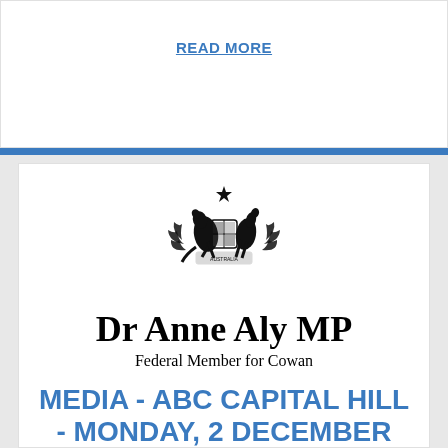READ MORE
[Figure (logo): Australian Government Coat of Arms with kangaroo, emu, and shield]
Dr Anne Aly MP
Federal Member for Cowan
MEDIA - ABC CAPITAL HILL - MONDAY, 2 DECEMBER 2019
December 02, 2019